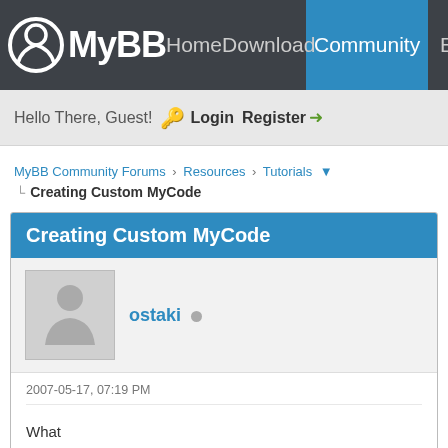MyBB Home Download Community Extend
Hello There, Guest! Login Register
MyBBCommunity Forums › Resources › Tutorials
Creating Custom MyCode
Creating Custom MyCode
ostaki
2007-05-17, 07:19 PM
What

Caps maps yokmu ..